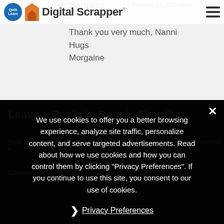Digital Scrapper
Thank you very much, Nanni
Hugs
Morgaine
Leave a Reply to Bonnie Timothy
Cancel reply
Your email address will not be published. Required fields are marked *
Comment *
We use cookies to offer you a better browsing experience, analyze site traffic, personalize content, and serve targeted advertisements. Read about how we use cookies and how you can control them by clicking "Privacy Preferences". If you continue to use this site, you consent to our use of cookies.
Privacy Preferences
I Agree